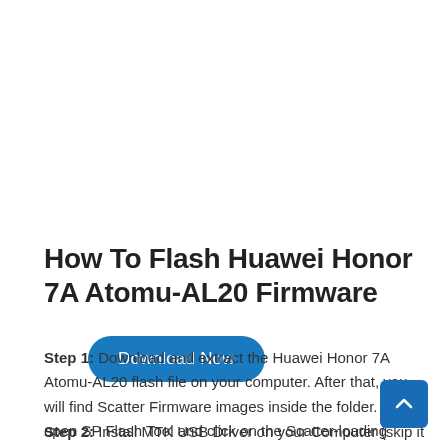[Figure (other): Blue 'Download Now' button with rounded corners]
How To Flash Huawei Honor 7A Atomu-AL20 Firmware
Step 1: Download and extract the Huawei Honor 7A Atomu-AL20 flash file on your computer. After that, you will find Scatter Firmware images inside the folder. Now open SP Flash Tool and click on the Scatter-loading button in Flash Tool then select the Scatter file from Firmware.
Step 2: Install MTK USB Driver on your Computer (skip it if the
[Figure (other): Blue scroll-to-top button with upward chevron arrow]